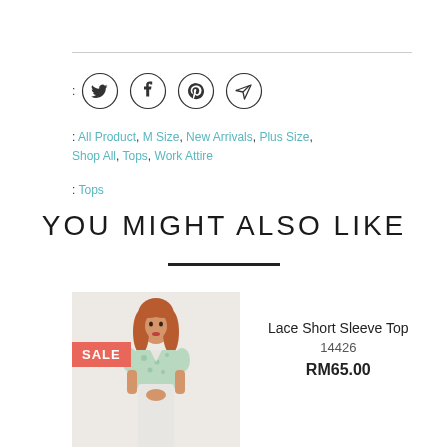[Figure (other): Social media share icons: Twitter, Facebook, Pinterest, Send/Email in circle outlines, preceded by a colon label]
: All Product, M Size, New Arrivals, Plus Size, Shop All, Tops, Work Attire
: Tops
YOU MIGHT ALSO LIKE
[Figure (photo): Product photo of a woman with long reddish hair wearing a light green lace short sleeve floral top and white pants, with a SALE badge overlay]
Lace Short Sleeve Top
14426
RM65.00